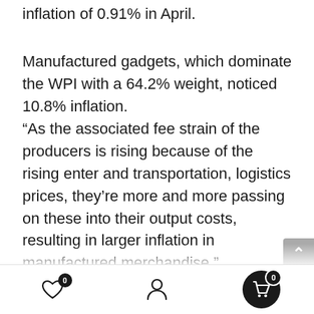inflation of 0.91% in April.
Manufactured gadgets, which dominate the WPI with a 64.2% weight, noticed 10.8% inflation.
“As the associated fee strain of the producers is rising because of the rising enter and transportation, logistics prices, they’re more and more passing on these into their output costs, resulting in larger inflation in manufactured merchandise,” mentioned India Scores and Analysis principal economist Sunil Sinha. This pattern began properly earlier than the Russia-Ukraine battle however has been aggravated by additional spikes in enter prices, particularly of crude oil and
0  [heart icon]  [user icon]  0 [cart icon]